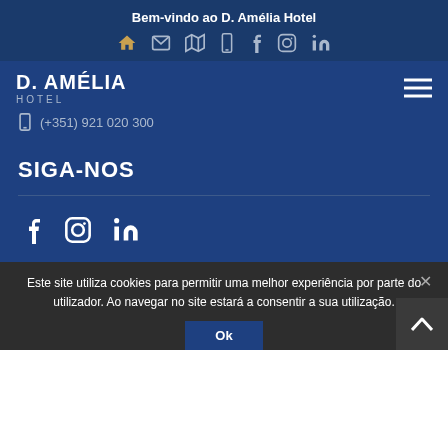Bem-vindo ao D. Amélia Hotel
[Figure (infographic): Row of social/contact icons: home, email, map, phone, facebook, instagram, linkedin]
[Figure (logo): D. AMÉLIA HOTEL logo]
[Figure (infographic): Hamburger menu icon (three horizontal lines)]
(+351) 921 020 300
SIGA-NOS
[Figure (infographic): Social media icons: facebook, instagram, linkedin]
Este site utiliza cookies para permitir uma melhor experiência por parte do utilizador. Ao navegar no site estará a consentir a sua utilização.
Ok